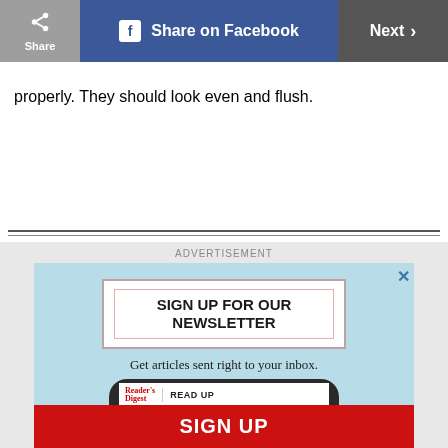Share | Share on Facebook | Next
properly. They should look even and flush.
[Figure (infographic): Reader's Digest newsletter sign-up advertisement with phone mockup, 'SIGN UP FOR OUR NEWSLETTER' heading, 'Get articles sent right to your inbox.' subtitle, and a red SIGN UP button.]